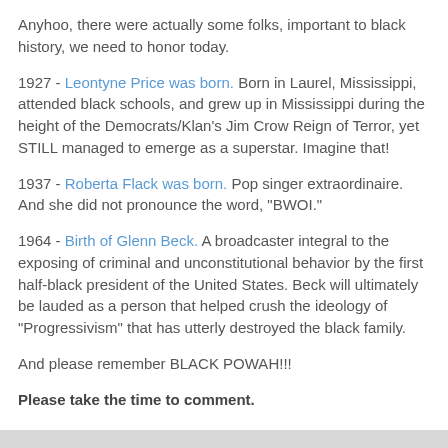Anyhoo, there were actually some folks, important to black history, we need to honor today.
1927 - Leontyne Price was born. Born in Laurel, Mississippi, attended black schools, and grew up in Mississippi during the height of the Democrats/Klan's Jim Crow Reign of Terror, yet STILL managed to emerge as a superstar. Imagine that!
1937 - Roberta Flack was born. Pop singer extraordinaire. And she did not pronounce the word, "BWOI."
1964 - Birth of Glenn Beck. A broadcaster integral to the exposing of criminal and unconstitutional behavior by the first half-black president of the United States. Beck will ultimately be lauded as a person that helped crush the ideology of "Progressivism" that has utterly destroyed the black family.
And please remember BLACK POWAH!!!
Please take the time to comment.